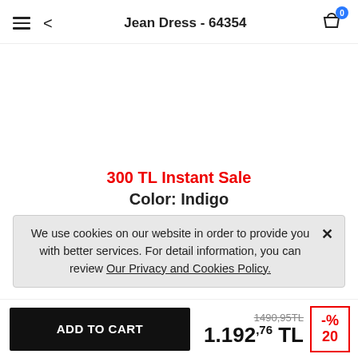Jean Dress - 64354
300 TL Instant Sale
Color: Indigo
We use cookies on our website in order to provide you with better services. For detail information, you can review Our Privacy and Cookies Policy.
ADD TO CART
1490,95TL
1.192,76 TL
-% 20